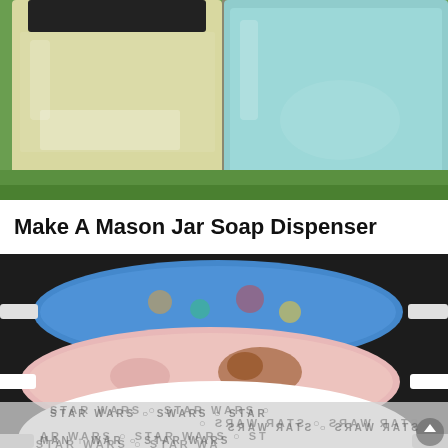[Figure (photo): Two mason jars with liquid inside — left jar has yellowish-green liquid with a black lid, right jar has light blue/teal liquid, photographed outdoors with green background]
Make A Mason Jar Soap Dispenser
[Figure (photo): Three sleep/eye masks stacked on a dark background — top mask in blue fabric with colorful characters, middle mask in pink fabric with horse print, bottom mask in black and white Star Wars logo fabric. White elastic straps visible on sides.]